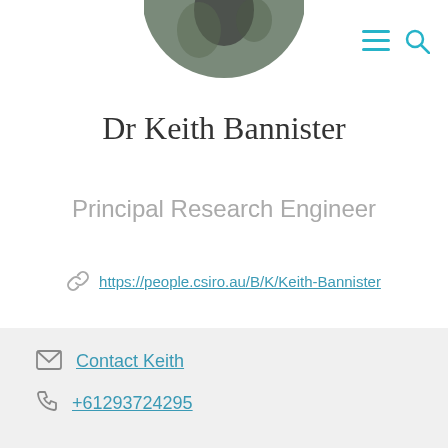[Figure (photo): Circular profile photo of Dr Keith Bannister, partially visible at top of page]
Dr Keith Bannister
Principal Research Engineer
https://people.csiro.au/B/K/Keith-Bannister
Contact Keith
+61293724295